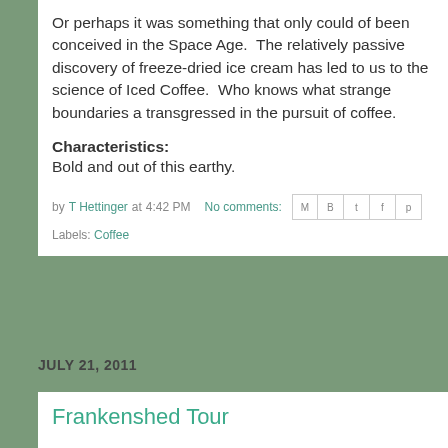Or perhaps it was something that only could of been conceived in the Space Age.  The relatively passive discovery of freeze-dried ice cream has led to us to the science of Iced Coffee.  Who knows what strange boundaries a transgressed in the pursuit of coffee.
Characteristics:
Bold and out of this earthy.
by T Hettinger at 4:42 PM   No comments:
Labels: Coffee
JULY 21, 2011
Frankenshed Tour